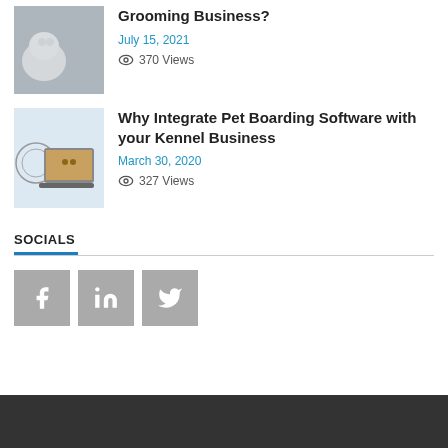[Figure (photo): White fluffy dog being groomed]
Grooming Business?
July 15, 2021
370 Views
[Figure (photo): A dog on a laptop screen with a circular logo/badge]
Why Integrate Pet Boarding Software with your Kennel Business
March 30, 2020
327 Views
SOCIALS
[Figure (logo): Facebook, LinkedIn, and Twitter social media icons]